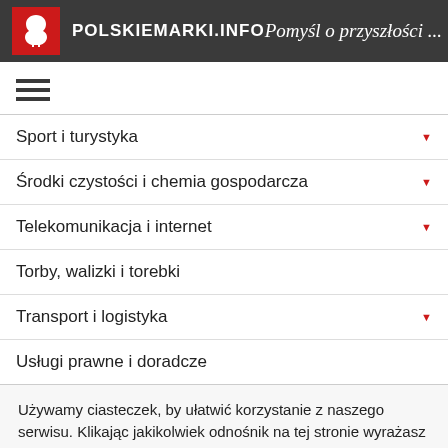POLSKIEMARKI.INFO — Pomyśl o przyszłości ...
[Figure (other): Hamburger menu icon with three horizontal lines]
Sport i turystyka
Środki czystości i chemia gospodarcza
Telekomunikacja i internet
Torby, walizki i torebki
Transport i logistyka
Usługi prawne i doradcze
Używamy ciasteczek, by ułatwić korzystanie z naszego serwisu. Klikając jakikolwiek odnośnik na tej stronie wyrażasz zgodę na ustawienie plików cookie.
Chcę dowiedzieć się więcej | Tak, zgadzam się